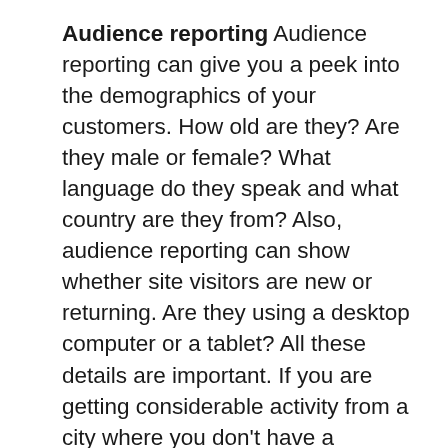Audience reporting Audience reporting can give you a peek into the demographics of your customers. How old are they? Are they male or female? What language do they speak and what country are they from? Also, audience reporting can show whether site visitors are new or returning. Are they using a desktop computer or a tablet? All these details are important. If you are getting considerable activity from a city where you don't have a presence, you might consider opening a new location or just making your services accessible to people in those areas. If a significant amount of your traffic is coming from a tablet or other mobile device, you will want to be sure that your site content is mobile-compatible or you could end up causing your customers to be frustrated and even drive